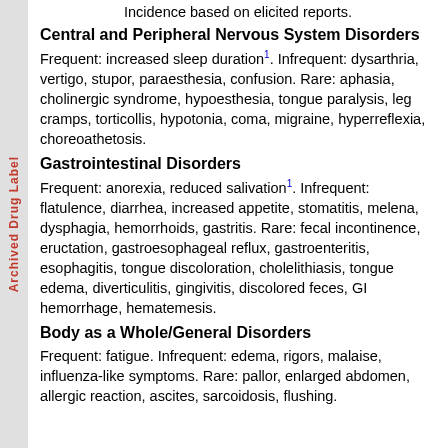Incidence based on elicited reports.
Central and Peripheral Nervous System Disorders
Frequent: increased sleep duration1. Infrequent: dysarthria, vertigo, stupor, paraesthesia, confusion. Rare: aphasia, cholinergic syndrome, hypoesthesia, tongue paralysis, leg cramps, torticollis, hypotonia, coma, migraine, hyperreflexia, choreoathetosis.
Gastrointestinal Disorders
Frequent: anorexia, reduced salivation1. Infrequent: flatulence, diarrhea, increased appetite, stomatitis, melena, dysphagia, hemorrhoids, gastritis. Rare: fecal incontinence, eructation, gastroesophageal reflux, gastroenteritis, esophagitis, tongue discoloration, cholelithiasis, tongue edema, diverticulitis, gingivitis, discolored feces, GI hemorrhage, hematemesis.
Body as a Whole/General Disorders
Frequent: fatigue. Infrequent: edema, rigors, malaise, influenza-like symptoms. Rare: pallor, enlarged abdomen, allergic reaction, ascites, sarcoidosis, flushing.